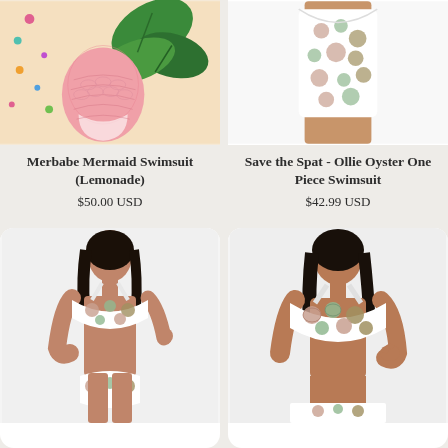[Figure (photo): Merbabe Mermaid Swimsuit (Lemonade) - pink mermaid scale bikini bottoms laid flat on sandy/tropical background with green monstera leaves]
Merbabe Mermaid Swimsuit (Lemonade)
$50.00 USD
[Figure (photo): Save the Spat - Ollie Oyster One Piece Swimsuit - white one-piece with oyster/shell print pattern, shown on model]
Save the Spat - Ollie Oyster One Piece Swimsuit
$42.99 USD
[Figure (photo): Woman wearing white bikini with oyster/shell print pattern - two-piece swimsuit]
[Figure (photo): Woman wearing white bikini top with oyster/shell print pattern - close up view]